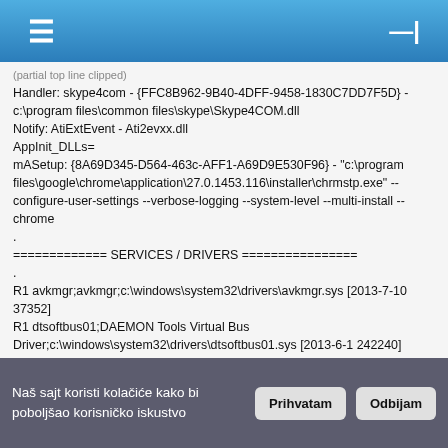☰  —|
Handler: skype4com - {FFC8B962-9B40-4DFF-9458-1830C7DD7F5D} - c:\program files\common files\skype\Skype4COM.dll
Notify: AtiExtEvent - Ati2evxx.dll
AppInit_DLLs=
mASetup: {8A69D345-D564-463c-AFF1-A69D9E530F96} - "c:\program files\google\chrome\application\27.0.1453.116\installer\chrmstp.exe" --configure-user-settings --verbose-logging --system-level --multi-install --chrome
.
============= SERVICES / DRIVERS ================
.
R1 avkmgr;avkmgr;c:\windows\system32\drivers\avkmgr.sys [2013-7-10 37352]
R1 dtsoftbus01;DAEMON Tools Virtual Bus Driver;c:\windows\system32\drivers\dtsoftbus01.sys [2013-6-1 242240]
R2 AntiVirSchedulerService;Avira Scheduler;c:\program files\avira\antivir desktop\sched.exe [2013-7-10 84024]
R2 AntiVirService;Avira Real-Time Protection;c:\program files\avira\antivir desktop\avguard.exe [2013-7-10 108088]
Naš sajt koristi kolačiće kako bi poboljšao korisničko iskustvo